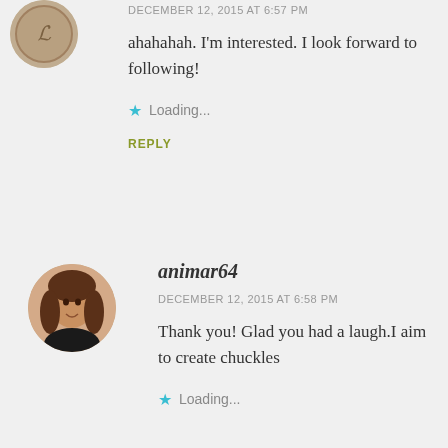[Figure (photo): Circular avatar photo, partially cropped at top, showing a coin or medallion image]
DECEMBER 12, 2015 AT 6:57 PM
ahahahah. I'm interested. I look forward to following!
Loading...
REPLY
[Figure (photo): Circular avatar photo of a young woman with long brown hair]
animar64
DECEMBER 12, 2015 AT 6:58 PM
Thank you! Glad you had a laugh.I aim to create chuckles
Loading...